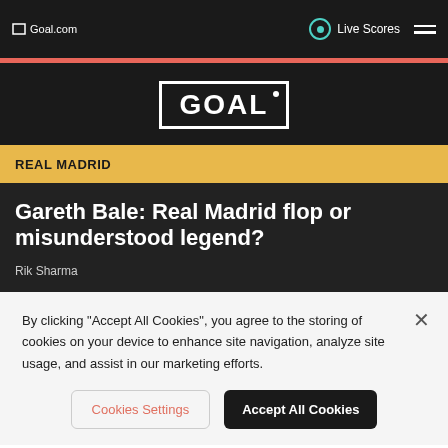Goal.com | Live Scores
[Figure (logo): GOAL logo in white text with border on dark background]
REAL MADRID
Gareth Bale: Real Madrid flop or misunderstood legend?
Rik Sharma
By clicking "Accept All Cookies", you agree to the storing of cookies on your device to enhance site navigation, analyze site usage, and assist in our marketing efforts.
Cookies Settings | Accept All Cookies